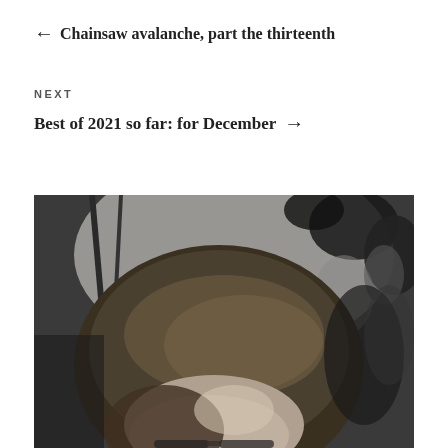← Chainsaw avalanche, part the thirteenth
NEXT
Best of 2021 so far: for December →
[Figure (photo): Black and white close-up photograph of a person with long hair and glasses, taken from slightly above. The background is blurred with dark shapes and bokeh.]